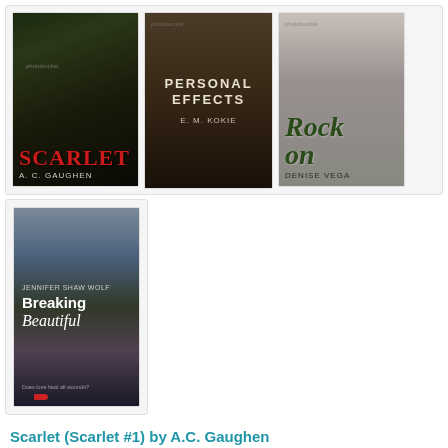[Figure (photo): Three book covers in a grid: Scarlet by A.C. Gaughen (dark fantasy cover with woman and knife), Personal Effects by E.M. Kokie (dark moody cover with seated figure), Rock On by Denise Vega (guitar and amplifier cover)]
[Figure (photo): Book cover: Breaking Beautiful by Jennifer Shaw Wolf, showing a bridge/dock over water with a red shoe]
Scarlet (Scarlet #1) by A.C. Gaughen
Will Scarlet as a girl? This totally worked for me. I loved Robin Hood too, though his character wasn't as developed as Scarlet. I am so excited that this is going to be a trilogy!